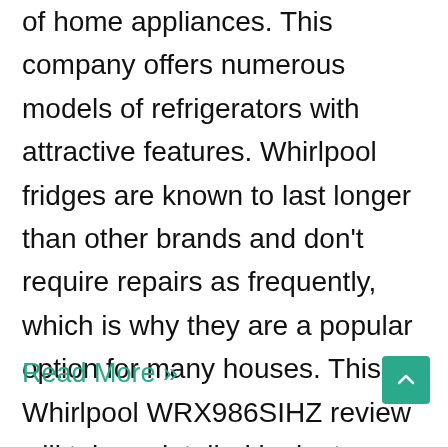of home appliances. This company offers numerous models of refrigerators with attractive features. Whirlpool fridges are known to last longer than other brands and don't require repairs as frequently, which is why they are a popular option for many houses. This Whirlpool WRX986SIHZ review will take a detailed look at ...
Read More »